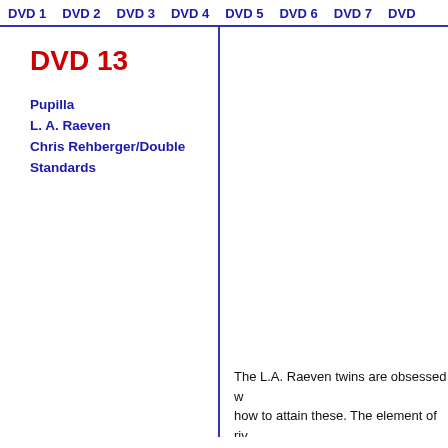DVD 1  DVD 2  DVD 3  DVD 4  DVD 5  DVD 6  DVD 7  DVD 8
DVD 13
Pupilla
L. A. Raeven
Chris Rehberger/Double Standards
The L.A. Raeven twins are obsessed w... how to attain these. The element of ri... and uncomfortable. The actors are ofte... judged on their appearance. The films ... protagonists to unprecedented heights... 'Prison in me', 2005, was made for Lo... up of a tear-stained face. Automatically... that it is not one girl, but two. Dressed ... progresses they make frantic efforts to... so alike that they must be identical twi... 'Prison in me' reflects the psychic laye... against their better judgment. The chil... synthesiser, suits the images well. The... girls have to be protected from themse... taken Pupilla's piece as his starting po... sphere is morphed in such a way that ... work, but with a little good will you cou...